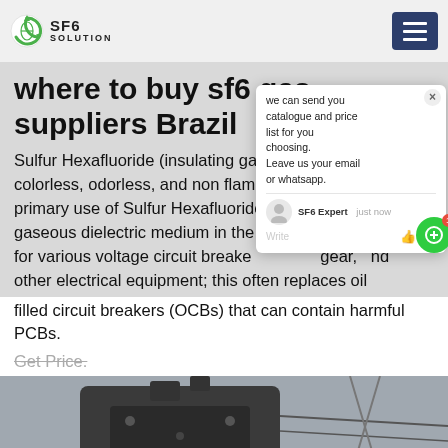SF6 SOLUTION
where to buy sf6 gas suppliers Brazil
Sulfur Hexafluoride (insulating gas) is a nontoxic, colorless, odorless, and non flammable gas. The primary use of Sulfur Hexafluoride (SF6) is as a gaseous dielectric medium in the electrical industry for various voltage circuit breakers, switchgear and other electrical equipment; this often replaces oil filled circuit breakers (OCBs) that can contain harmful PCBs.
Get Price.
[Figure (photo): Outdoor electrical equipment / circuit breaker on a utility pole, viewed from below against a grey sky.]